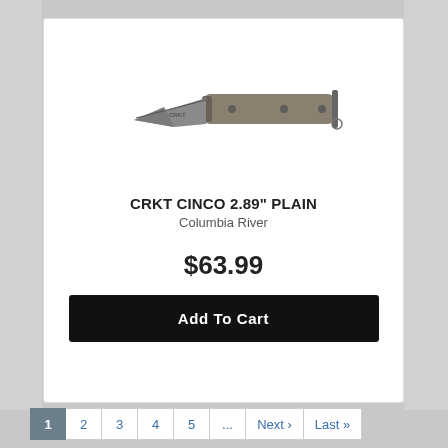[Figure (photo): CRKT Cinco folding knife with gray blade and tan/olive handle, shown open from a side angle on a white background]
CRKT CINCO 2.89" PLAIN
Columbia River
$63.99
Add To Cart
1  2  3  4  5  ...  Next ›  Last »